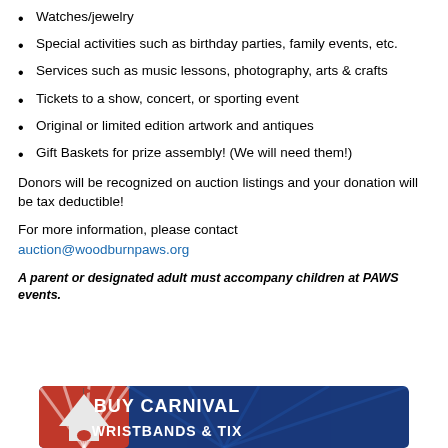Watches/jewelry
Special activities such as birthday parties, family events, etc.
Services such as music lessons, photography, arts & crafts
Tickets to a show, concert, or sporting event
Original or limited edition artwork and antiques
Gift Baskets for prize assembly! (We will need them!)
Donors will be recognized on auction listings and your donation will be tax deductible!
For more information, please contact
auction@woodburnpaws.org
A parent or designated adult must accompany children at PAWS events.
[Figure (illustration): BUY CARNIVAL banner with circus tent graphic, red white and blue colors]